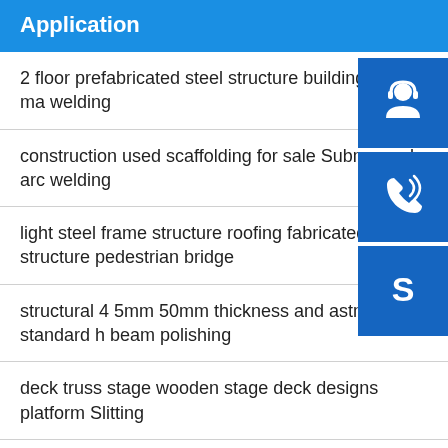Application
2 floor prefabricated steel structure building Plasma welding
construction used scaffolding for sale Submerged arc welding
light steel frame structure roofing fabricated steel structure pedestrian bridge
structural 4 5mm 50mm thickness and astm standard h beam polishing
deck truss stage wooden stage deck designs platform Slitting
top products one person black square design cubicle
[Figure (infographic): Three blue sidebar buttons with white icons: headset/customer service icon, phone with signal waves icon, and Skype logo icon]